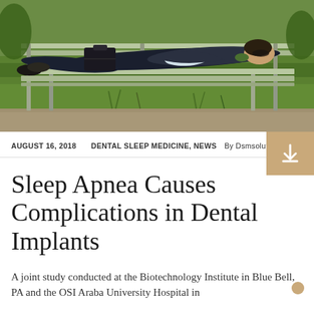[Figure (photo): A person in dark clothing lying on a park bench with a briefcase, surrounded by green grass]
AUGUST 16, 2018   DENTAL SLEEP MEDICINE, NEWS   By Dsmsolutions
Sleep Apnea Causes Complications in Dental Implants
A joint study conducted at the Biotechnology Institute in Blue Bell, PA and the OSI Araba University Hospital in